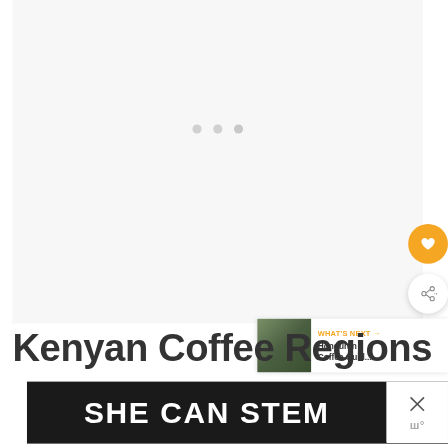[Figure (screenshot): White/light gray content loading area with three gray circular loading dots centered in the upper portion]
[Figure (illustration): Orange circular button with white heart icon (favorite/save button)]
[Figure (illustration): White circular button with gray share/network icon]
[Figure (illustration): What's Next card showing a forest image thumbnail with orange label 'WHAT'S NEXT →' and title 'Honduran Coffee Guid...']
Kenyan Coffee Regions
[Figure (screenshot): Dark advertisement banner with white bold text 'SHE CAN STEM' and a close X button on the right side with a logo mark below it]